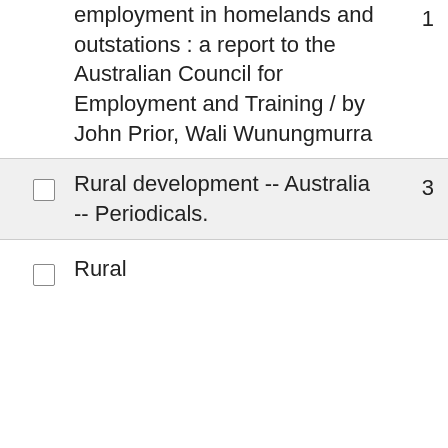employment in homelands and outstations : a report to the Australian Council for Employment and Training / by John Prior, Wali Wunungmurra
Rural development -- Australia -- Periodicals.
Rural